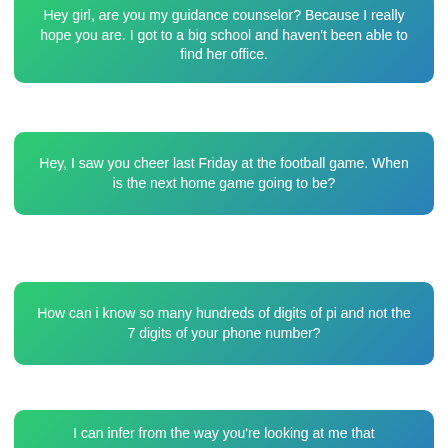Hey girl, are you my guidance counselor? Because I really hope you are. I got to a big school and haven't been able to find her office.
Hey, I saw you cheer last Friday at the football game. When is the next home game going to be?
How can i know so many hundreds of digits of pi and not the 7 digits of your phone number?
I can infer from the way you're looking at me that